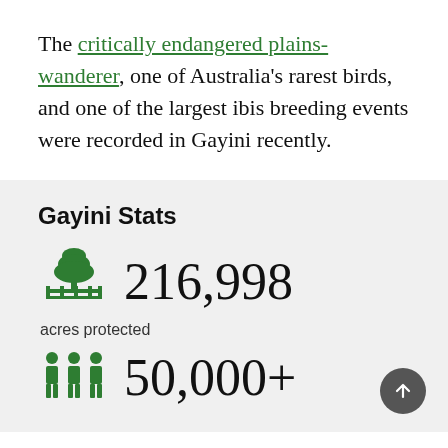The critically endangered plains-wanderer, one of Australia's rarest birds, and one of the largest ibis breeding events were recorded in Gayini recently.
Gayini Stats
216,998 acres protected
50,000+